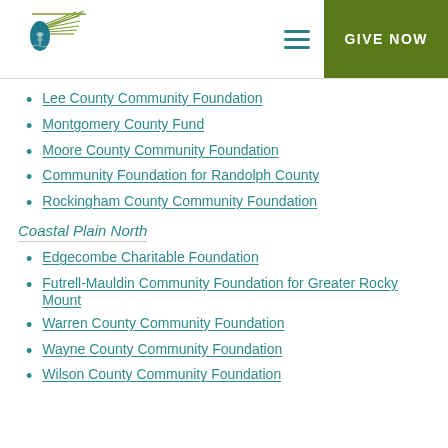[Figure (logo): Community Foundation logo with pine cone and pine needle design, teal and olive green colors]
Lee County Community Foundation
Montgomery County Fund
Moore County Community Foundation
Community Foundation for Randolph County
Rockingham County Community Foundation
Coastal Plain North
Edgecombe Charitable Foundation
Futrell-Mauldin Community Foundation for Greater Rocky Mount
Warren County Community Foundation
Wayne County Community Foundation
Wilson County Community Foundation